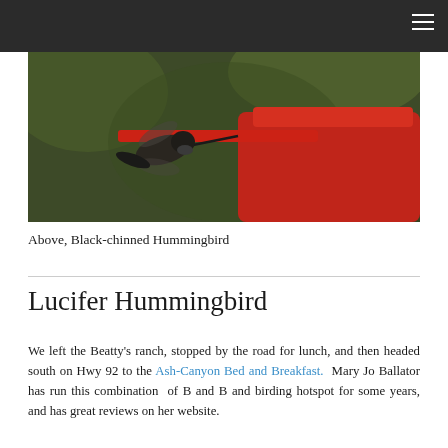[Figure (photo): Close-up photograph of a Black-chinned Hummingbird at a red feeder, with blurred green background]
Above, Black-chinned Hummingbird
Lucifer Hummingbird
We left the Beatty's ranch, stopped by the road for lunch, and then headed south on Hwy 92 to the Ash-Canyon Bed and Breakfast.  Mary Jo Ballator has run this combination  of B and B and birding hotspot for some years, and has great reviews on her website.